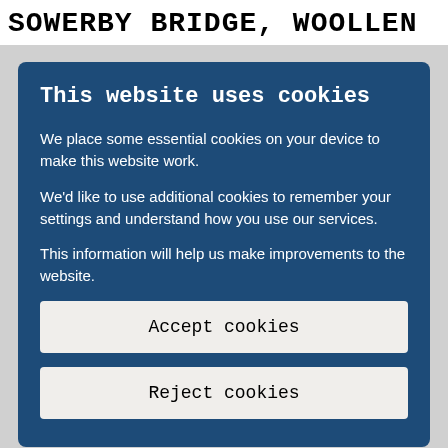SOWERBY BRIDGE, WOOLLEN
This website uses cookies
We place some essential cookies on your device to make this website work.
We'd like to use additional cookies to remember your settings and understand how you use our services.
This information will help us make improvements to the website.
Accept cookies
Reject cookies